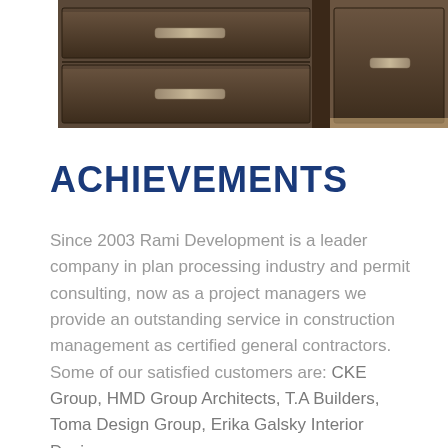[Figure (photo): Photograph of dark brown wooden cabinet drawers with metal handles, close-up view]
ACHIEVEMENTS
Since 2003 Rami Development is a leader company in plan processing industry and permit consulting, now as a project managers we provide an outstanding service in construction management as certified general contractors. Some of our satisfied customers are: CKE Group, HMD Group Architects, T.A Builders, Toma Design Group, Erika Galsky Interior Design.